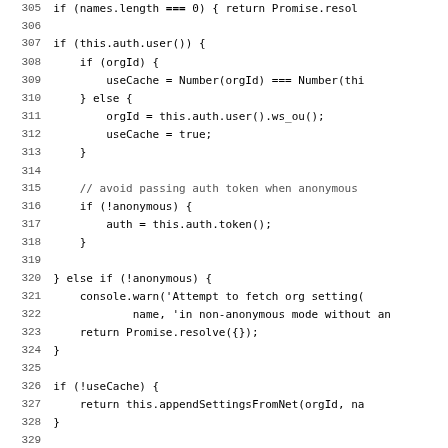[Figure (screenshot): Source code screenshot showing JavaScript lines 305-337 with line numbers on the left and code on the right. Lines include conditional logic for auth, orgId, useCache, anonymous checks, promise resolves, cache/db settings fetching.]